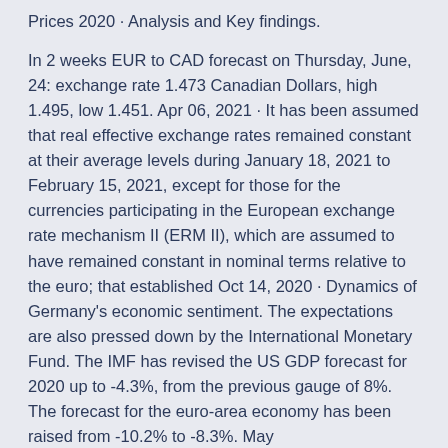Prices 2020 · Analysis and Key findings.
In 2 weeks EUR to CAD forecast on Thursday, June, 24: exchange rate 1.473 Canadian Dollars, high 1.495, low 1.451. Apr 06, 2021 · It has been assumed that real effective exchange rates remained constant at their average levels during January 18, 2021 to February 15, 2021, except for those for the currencies participating in the European exchange rate mechanism II (ERM II), which are assumed to have remained constant in nominal terms relative to the euro; that established Oct 14, 2020 · Dynamics of Germany's economic sentiment. The expectations are also pressed down by the International Monetary Fund. The IMF has revised the US GDP forecast for 2020 up to -4.3%, from the previous gauge of 8%. The forecast for the euro-area economy has been raised from -10.2% to -8.3%. May